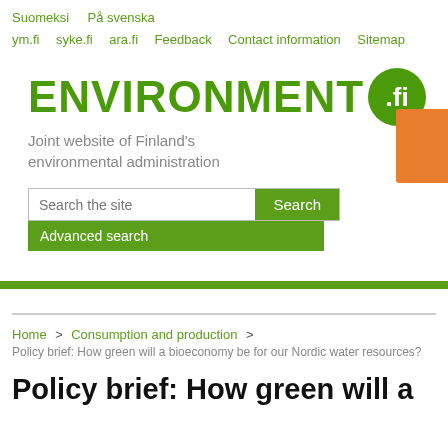Suomeksi  På svenska
ym.fi  syke.fi  ara.fi  Feedback  Contact information  Sitemap
[Figure (logo): ENVIRONMENT.fi logo — green bold text with .fi in a green circle. Subtitle: Joint website of Finland's environmental administration]
Search the site
Advanced search
[Figure (other): Orange rectangular tab on right side]
Home > Consumption and production >
Policy brief: How green will a bioeconomy be for our Nordic water resources?
Policy brief: How green will a